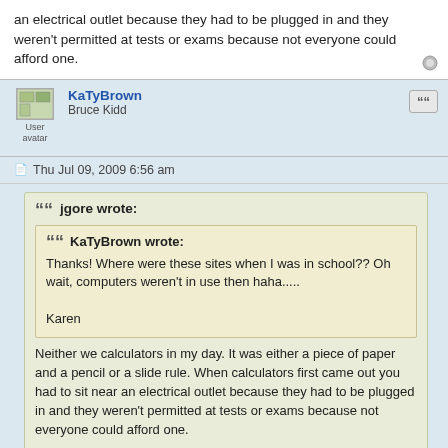an electrical outlet because they had to be plugged in and they weren't permitted at tests or exams because not everyone could afford one.
KaTyBrown
Bruce Kidd
Thu Jul 09, 2009 6:56 am
jgore wrote:
KaTyBrown wrote:
Thanks! Where were these sites when I was in school?? Oh wait, computers weren't in use then haha.....

Karen

Neither we calculators in my day. It was either a piece of paper and a pencil or a slide rule. When calculators first came out you had to sit near an electrical outlet because they had to be plugged in and they weren't permitted at tests or exams because not everyone could afford one.